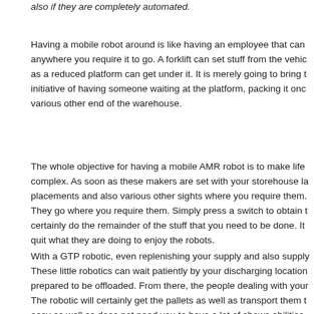also if they are completely automated.
Having a mobile robot around is like having an employee that can anywhere you require it to go. A forklift can set stuff from the vehic as a reduced platform can get under it. It is merely going to bring t initiative of having someone waiting at the platform, packing it onc various other end of the warehouse.
The whole objective for having a mobile AMR robot is to make life complex. As soon as these makers are set with your storehouse la placements and also various other sights where you require them. They go where you require them. Simply press a switch to obtain t certainly do the remainder of the stuff that you need to be done. It quit what they are doing to enjoy the robots.
With a GTP robotic, even replenishing your supply and also supply These little robotics can wait patiently by your discharging location prepared to be offloaded. From there, the people dealing with your The robotic will certainly get the pallets as well as transport them t easy as well as does not need you to have a lot of shows abilities